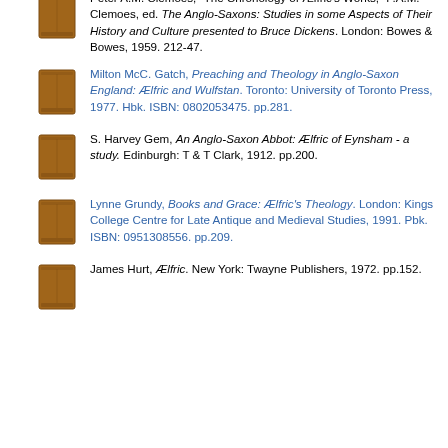Peter A.M. Clemoes, "The Chronology of Ælfric's Works," P.A.M. Clemoes, ed. The Anglo-Saxons: Studies in some Aspects of Their History and Culture presented to Bruce Dickens. London: Bowes & Bowes, 1959. 212-47.
Milton McC. Gatch, Preaching and Theology in Anglo-Saxon England: Ælfric and Wulfstan. Toronto: University of Toronto Press, 1977. Hbk. ISBN: 0802053475. pp.281.
S. Harvey Gem, An Anglo-Saxon Abbot: Ælfric of Eynsham - a study. Edinburgh: T & T Clark, 1912. pp.200.
Lynne Grundy, Books and Grace: Ælfric's Theology. London: Kings College Centre for Late Antique and Medieval Studies, 1991. Pbk. ISBN: 0951308556. pp.209.
James Hurt, Ælfric. New York: Twayne Publishers, 1972. pp.152.